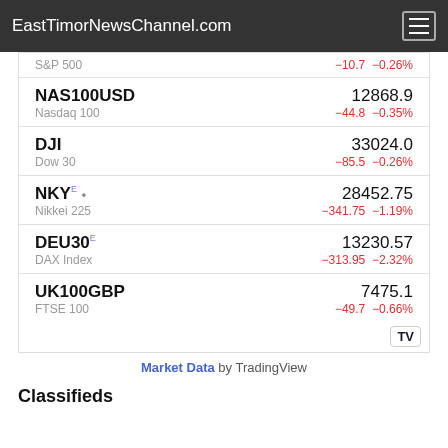EastTimorNewsChannel.com
| Ticker | Name | Price | Change | Change% |
| --- | --- | --- | --- | --- |
| S&P 500 |  |  | −10.7 | −0.26% |
| NAS100USD | Nasdaq 100 | 12868.9 | −44.8 | −0.35% |
| DJI | Dow 30 | 33024.0 | −85.5 | −0.26% |
| NKY E • | Nikkei 225 | 28452.75 | −341.75 | −1.19% |
| DEU30 E | DAX Index | 13230.57 | −313.95 | −2.32% |
| UK100GBP | FTSE 100 | 7475.1 | −49.7 | −0.66% |
Market Data by TradingView
Classifieds